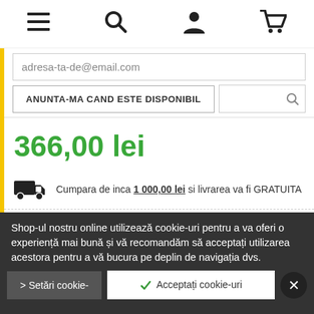Navigation bar with menu, search, account, and cart icons
adresa-ta-de@email.com
ANUNTA-MA CAND ESTE DISPONIBIL
366,00 lei
Cumpara de inca 1 000,00 lei si livrarea va fi GRATUITA
Pentru comenzile ce contin produse disponibile la furnizor, dupa plasarea comenzii, vom verifica la distribuitor disponibilitatea produsului si va vom comunica pe email sau telefonic statusul produsului. In cazul in care exista produse cu timp de livrare ce depaseste 15 zile, se va stabili ulterior telefonic sau pe email o
Shop-ul nostru online utilizează cookie-uri pentru a va oferi o experiență mai bună și vă recomandăm să acceptați utilizarea acestora pentru a vă bucura pe deplin de navigația dvs.
> Setări cookie-
✓ Acceptați cookie-uri